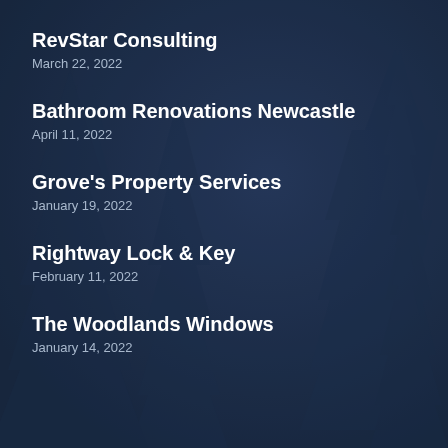[Figure (illustration): Dark navy blue background with silhouettes of pine/fir trees creating a textured forest backdrop]
RevStar Consulting
March 22, 2022
Bathroom Renovations Newcastle
April 11, 2022
Grove's Property Services
January 19, 2022
Rightway Lock & Key
February 11, 2022
The Woodlands Windows
January 14, 2022